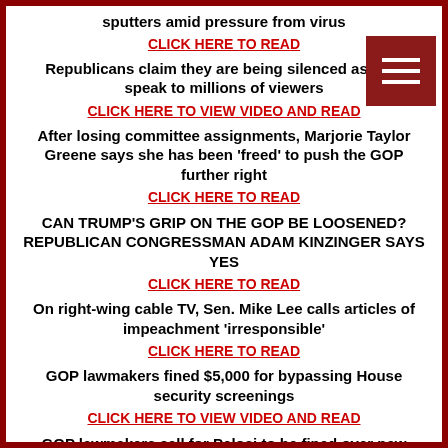sputters amid pressure from virus
CLICK HERE TO READ
Republicans claim they are being silenced as they speak to millions of viewers
CLICK HERE TO VIEW VIDEO AND READ
After losing committee assignments, Marjorie Taylor Greene says she has been 'freed' to push the GOP further right
CLICK HERE TO READ
CAN TRUMP'S GRIP ON THE GOP BE LOOSENED? REPUBLICAN CONGRESSMAN ADAM KINZINGER SAYS YES
CLICK HERE TO READ
On right-wing cable TV, Sen. Mike Lee calls articles of impeachment 'irresponsible'
CLICK HERE TO READ
GOP lawmakers fined $5,000 for bypassing House security screenings
CLICK HERE TO VIEW VIDEO AND READ
GOP lawmakers call for Pelosi to be fined over new screenings
CLICK HERE TO VIEW VIDEO AND READ
Cotton Tries to Force Dems to Vote on Court-Packing